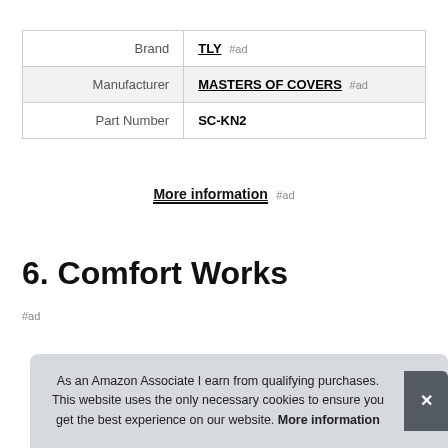| Brand | TLY #ad |
| Manufacturer | MASTERS OF COVERS #ad |
| Part Number | SC-KN2 |
More information #ad
6. Comfort Works
#ad
As an Amazon Associate I earn from qualifying purchases. This website uses the only necessary cookies to ensure you get the best experience on our website. More information